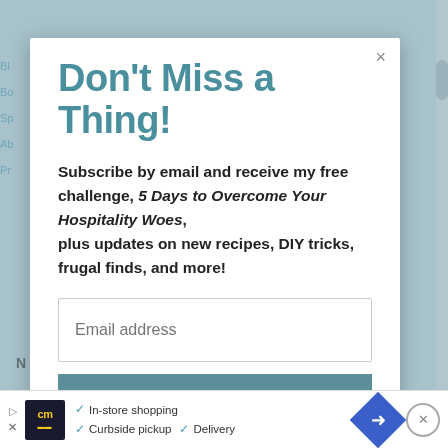Don't Miss a Thing!
Subscribe by email and receive my free challenge, 5 Days to Overcome Your Hospitality Woes, plus updates on new recipes, DIY tricks, frugal finds, and more!
Email address
SUBSCRIBE
[Figure (screenshot): Advertisement bar at bottom: CM logo, checkmarks for In-store shopping, Curbside pickup, Delivery, navigation arrow icon, close button]